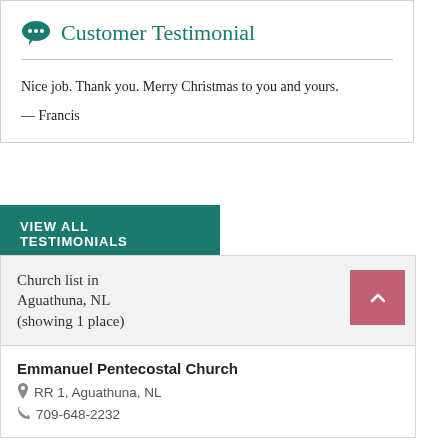Customer Testimonial
Nice job. Thank you. Merry Christmas to you and yours.
— Francis
VIEW ALL TESTIMONIALS
Church list in Aguathuna, NL (showing 1 place)
Emmanuel Pentecostal Church
RR 1, Aguathuna, NL
709-648-2232